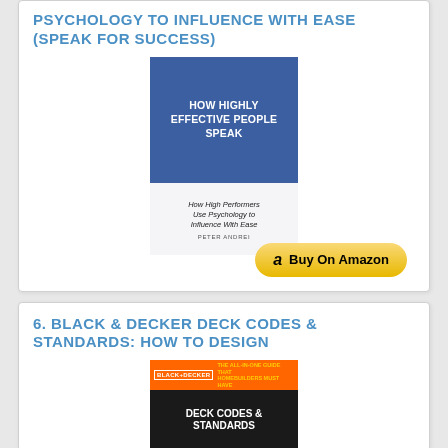PSYCHOLOGY TO INFLUENCE WITH EASE (SPEAK FOR SUCCESS)
[Figure (illustration): Book cover: HOW HIGHLY EFFECTIVE PEOPLE SPEAK - How High Performers Use Psychology to Influence With Ease by Peter Andrei. Blue top half with white bold title, light bottom with subtitle and author.]
[Figure (infographic): Buy On Amazon button with Amazon 'a' logo, yellow/gold rounded rectangle button]
6. BLACK & DECKER DECK CODES & STANDARDS: HOW TO DESIGN
[Figure (illustration): Book cover: BLACK+DECKER DECK CODES & STANDARDS. Dark/black cover with orange Black+Decker logo header and white bold title text.]